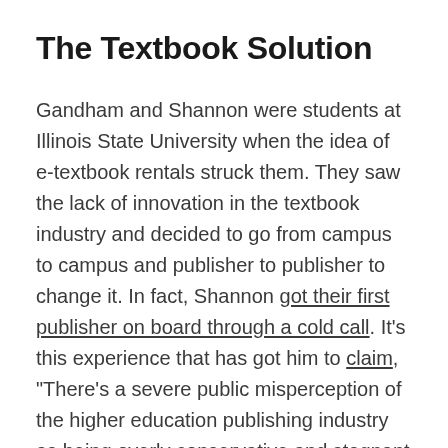The Textbook Solution
Gandham and Shannon were students at Illinois State University when the idea of e-textbook rentals struck them. They saw the lack of innovation in the textbook industry and decided to go from campus to campus and publisher to publisher to change it. In fact, Shannon got their first publisher on board through a cold call. It's this experience that has got him to claim, "There's a severe public misperception of the higher education publishing industry as being overly conservative and stagnant in evolving towards digital. We've found this to be simply untrue…,"
However, in 2015, Packback moved from being